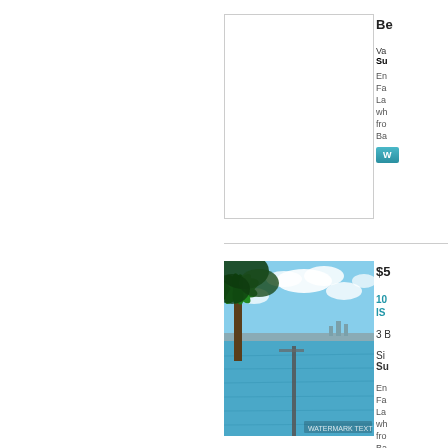[Figure (photo): Blank white photo placeholder box for first property listing]
Be... Va... Su...
En... Fa... La... wh... fro... Ba...
[Figure (photo): Waterfront property photo showing blue water, docks, palm trees, and city skyline in background under partly cloudy sky]
$5...
10... IS...
3 B... Si... Su...
En... Fa... La... wh... fro... Ba...